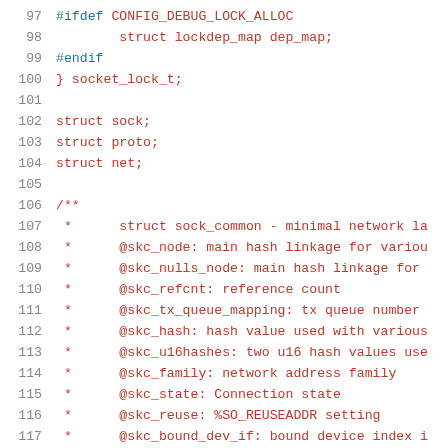[Figure (screenshot): Source code listing showing C struct definitions and Javadoc-style comments for Linux kernel networking code, lines 97-117. Line numbers shown in gray on the left, code in red/maroon and blue monospace font.]